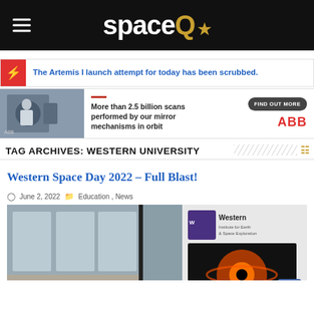spaceQ
The Artemis I launch attempt for today has been scrubbed.
[Figure (photo): ABB advertisement banner showing a person in a lab coat working on equipment. Text: More than 2.5 billion scans performed by our mirror mechanisms in orbit. FIND OUT MORE. ABB logo.]
TAG ARCHIVES: WESTERN UNIVERSITY
Western Space Day 2022 – Full Blast!
June 2, 2022   Education, News
[Figure (photo): Photo from Western Space Day 2022 showing a woman speaking at an event. Western Institute for Earth & Space Exploration banner visible on the right with a black hole image.]